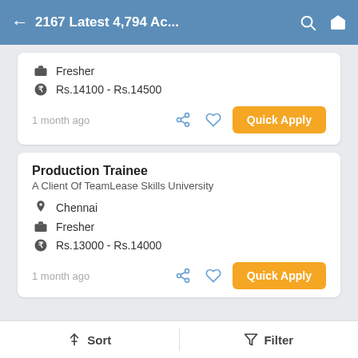2167 Latest 4,794 Ac...
Fresher
Rs.14100 - Rs.14500
1 month ago
Production Trainee
A Client Of TeamLease Skills University
Chennai
Fresher
Rs.13000 - Rs.14000
1 month ago
Sort   Filter